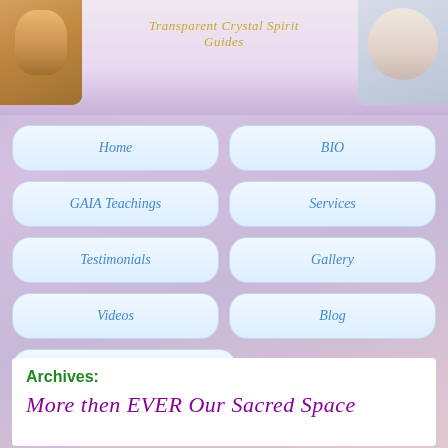[Figure (photo): Header with two circular face photos on left and right, and script text 'Transparent Crystal Spirit Guides' in gold italic center]
Transparent Crystal Spirit Guides
Home
BIO
GAIA Teachings
Services
Testimonials
Gallery
Videos
Blog
Contact
Archives:
More then EVER Our Sacred Space